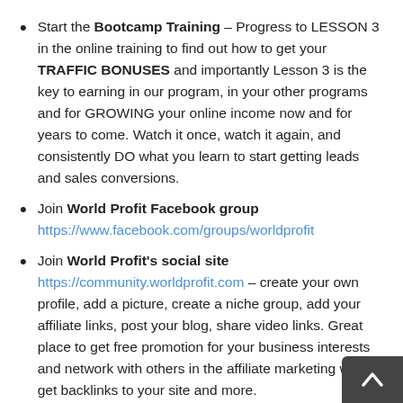Start the Bootcamp Training – Progress to LESSON 3 in the online training to find out how to get your TRAFFIC BONUSES and importantly Lesson 3 is the key to earning in our program, in your other programs and for GROWING your online income now and for years to come. Watch it once, watch it again, and consistently DO what you learn to start getting leads and sales conversions.
Join World Profit Facebook group https://www.facebook.com/groups/worldprofit
Join World Profit's social site https://community.worldprofit.com – create your own profile, add a picture, create a niche group, add your affiliate links, post your blog, share video links. Great place to get free promotion for your business interests and network with others in the affiliate marketing world, get backlinks to your site and more. This is a valuable and under-utilized free ser...